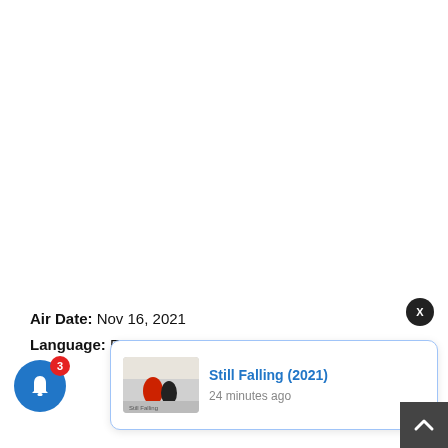Air Date: Nov 16, 2021
Language: E
[Figure (screenshot): Notification popup showing 'Still Falling (2021)' with movie thumbnail and '24 minutes ago' timestamp]
[Figure (other): Blue circular bell notification button with red badge showing count 3]
[Figure (other): Dark close button (X) circle in top-right of popup area]
[Figure (other): Dark grey scroll-to-top button with upward chevron arrow]